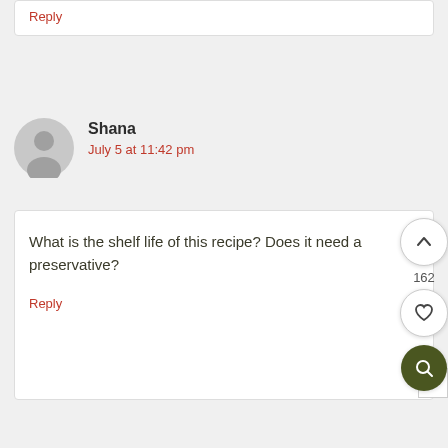Reply
Shana
July 5 at 11:42 pm
What is the shelf life of this recipe? Does it need a preservative?
Reply